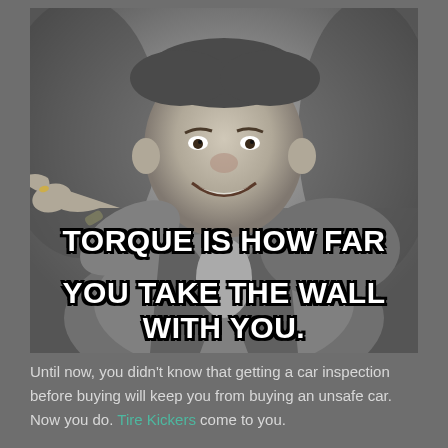[Figure (photo): Black and white photo of a smiling heavyset man in a suit pointing his finger at the viewer. Overlaid text reads: TORQUE IS HOW FAR YOU TAKE THE WALL WITH YOU.]
Until now, you didn't know that getting a car inspection before buying will keep you from buying an unsafe car. Now you do. Tire Kickers come to you.